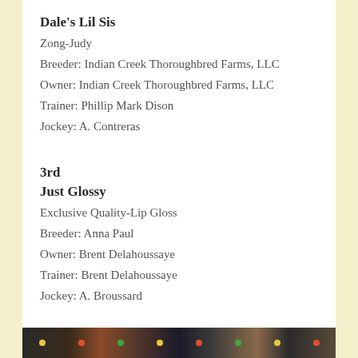Dale's Lil Sis
Zong-Judy
Breeder: Indian Creek Thoroughbred Farms, LLC
Owner: Indian Creek Thoroughbred Farms, LLC
Trainer: Phillip Mark Dison
Jockey: A. Contreras
3rd
Just Glossy
Exclusive Quality-Lip Gloss
Breeder: Anna Paul
Owner: Brent Delahoussaye
Trainer: Brent Delahoussaye
Jockey: A. Broussard
[Figure (photo): Photo strip of horse racing images at the bottom of the page]